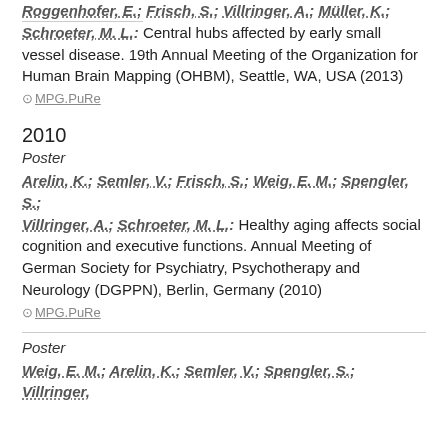Roggenhofer, E.; Frisch, S.; Villringer, A.; Müller, K.; Schroeter, M. L.: Central hubs affected by early small vessel disease. 19th Annual Meeting of the Organization for Human Brain Mapping (OHBM), Seattle, WA, USA (2013)
⊙ MPG.PuRe
2010
Poster
Arelin, K.; Semler, V.; Frisch, S.; Weig, E. M.; Spengler, S.; Villringer, A.; Schroeter, M. L.: Healthy aging affects social cognition and executive functions. Annual Meeting of German Society for Psychiatry, Psychotherapy and Neurology (DGPPN), Berlin, Germany (2010)
⊙ MPG.PuRe
Poster
Weig, E. M.; Arelin, K.; Semler, V.; Spengler, S.; Villringer,